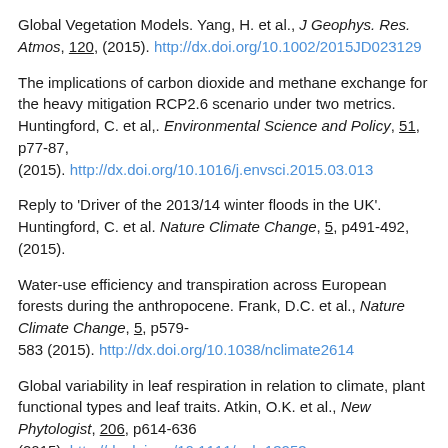Global Vegetation Models. Yang, H. et al., J Geophys. Res. Atmos, 120, (2015). http://dx.doi.org/10.1002/2015JD023129
The implications of carbon dioxide and methane exchange for the heavy mitigation RCP2.6 scenario under two metrics. Huntingford, C. et al,. Environmental Science and Policy, 51, p77-87, (2015). http://dx.doi.org/10.1016/j.envsci.2015.03.013
Reply to 'Driver of the 2013/14 winter floods in the UK'. Huntingford, C. et al. Nature Climate Change, 5, p491-492, (2015).
Water-use efficiency and transpiration across European forests during the anthropocene. Frank, D.C. et al., Nature Climate Change, 5, p579-583 (2015). http://dx.doi.org/10.1038/nclimate2614
Global variability in leaf respiration in relation to climate, plant functional types and leaf traits. Atkin, O.K. et al., New Phytologist, 206, p614-636 (2015). http://dx.doi.org/10.1111/nph.13253
Combining the [ABI]...